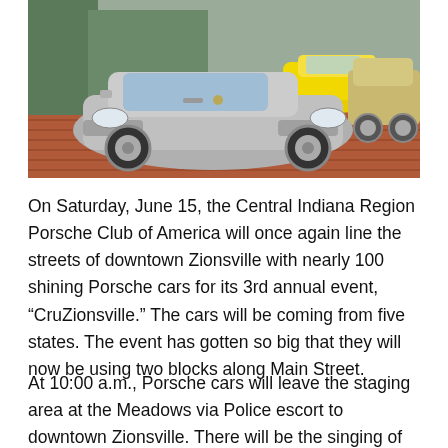[Figure (photo): Photograph of multiple Porsche cars parked on a brick-paved street. A silver Porsche Boxster is prominently in the foreground center, a yellow Porsche is visible in the upper right background, and a champagne/gold colored vehicle is partially visible on the right side.]
On Saturday, June 15, the Central Indiana Region Porsche Club of America will once again line the streets of downtown Zionsville with nearly 100 shining Porsche cars for its 3rd annual event, “CruZionsville.” The cars will be coming from five states. The event has gotten so big that they will now be using two blocks along Main Street.
At 10:00 a.m., Porsche cars will leave the staging area at the Meadows via Police escort to downtown Zionsville. There will be the singing of the National Anthem at the